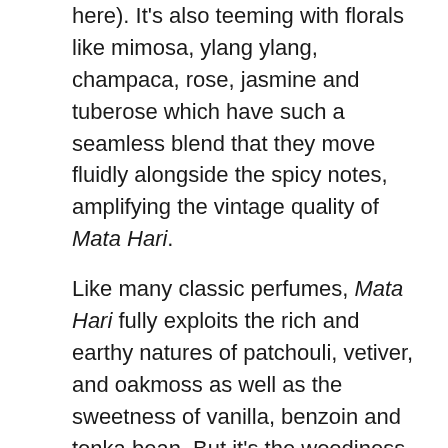here). It's also teeming with florals like mimosa, ylang ylang, champaca, rose, jasmine and tuberose which have such a seamless blend that they move fluidly alongside the spicy notes, amplifying the vintage quality of Mata Hari.

Like many classic perfumes, Mata Hari fully exploits the rich and earthy natures of patchouli, vetiver, and oakmoss as well as the sweetness of vanilla, benzoin and tonka bean. But it's the woodiness of the drydown that brings all of these aspects; fruity, floral, earthy and sweet into a cohesive whole. Peru balsam, Australian sandalwood and Texas cedarwood help bridge the sensuality of the peach infused osmanthus absolute and the luxurious feel of a well-aged